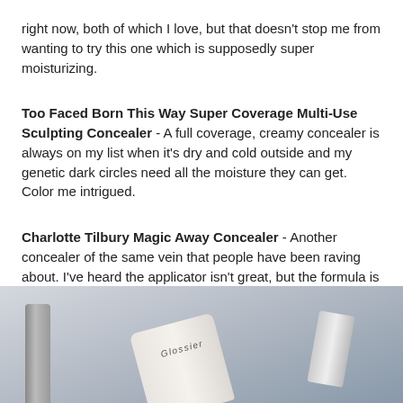right now, both of which I love, but that doesn't stop me from wanting to try this one which is supposedly super moisturizing.
Too Faced Born This Way Super Coverage Multi-Use Sculpting Concealer - A full coverage, creamy concealer is always on my list when it's dry and cold outside and my genetic dark circles need all the moisture they can get. Color me intrigued.
Charlotte Tilbury Magic Away Concealer - Another concealer of the same vein that people have been raving about. I've heard the applicator isn't great, but the formula is apparently fantastic.
Marc Jacobs O!Mega Bronzer - I just need to stop being so pale.
Eye Gloss by Violette - I love Violette's YouTube videos and she makes this looks so effortless and cool. I want to slick this on and pretend it's spring outside.
[Figure (photo): A photo showing beauty/cosmetic products including what appears to be a Glossier tube and other makeup items on a light surface]